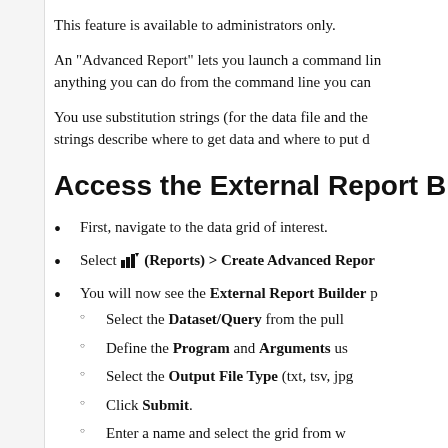This feature is available to administrators only.
An "Advanced Report" lets you launch a command line... anything you can do from the command line you can...
You use substitution strings (for the data file and the... strings describe where to get data and where to put d...
Access the External Report Build...
First, navigate to the data grid of interest.
Select [Reports icon] (Reports) > Create Advanced Repor...
You will now see the External Report Builder p...
Select the Dataset/Query from the pull...
Define the Program and Arguments us...
Select the Output File Type (txt, tsv, jpg...
Click Submit.
Enter a name and select the grid from w...
Click S...